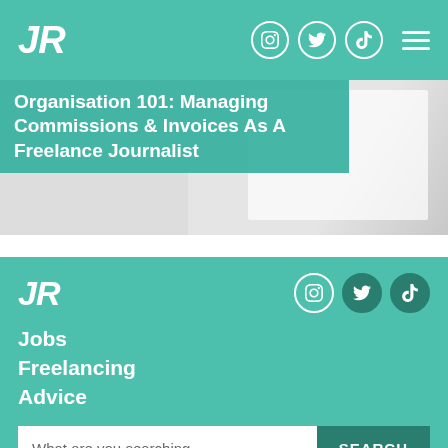JR — navigation bar with social icons and hamburger menu
[Figure (screenshot): Article thumbnail image with teal overlay text reading 'Organisation 101: Managing Commissions & Invoices As A Freelance Journalist']
Organisation 101: Managing Commissions & Invoices As A Freelance Journalist
[Figure (screenshot): Footer section with teal background showing JR logo, social icons, navigation links (Jobs, Freelancing, Advice), and a search bar]
Jobs
Freelancing
Advice
What are you searching
SEARCH
Type your email address
SUBSCRIBE